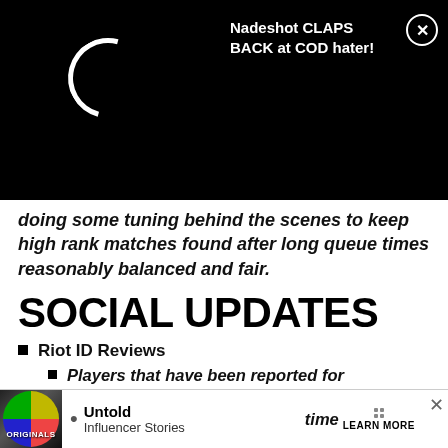[Figure (screenshot): Black banner with loading spinner and notification: 'Nadeshot CLAPS BACK at COD hater!' with close X button]
doing some tuning behind the scenes to keep high rank matches found after long queue times reasonably balanced and fair.
SOCIAL UPDATES
Riot ID Reviews
Players that have been reported for inappropriate Riot IDs will now be reviewed automatically after the match has ended. If their name is flagged as inappropriate, they will be... time t...
[Figure (screenshot): Ad banner at bottom: Originals circular logo, bullet point, Untold Influencer Stories, LEARN MORE button with grid dots, close X]